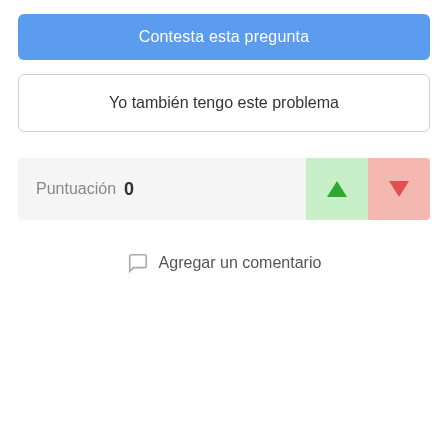Contesta esta pregunta
Yo también tengo este problema
Puntuación 0
Agregar un comentario